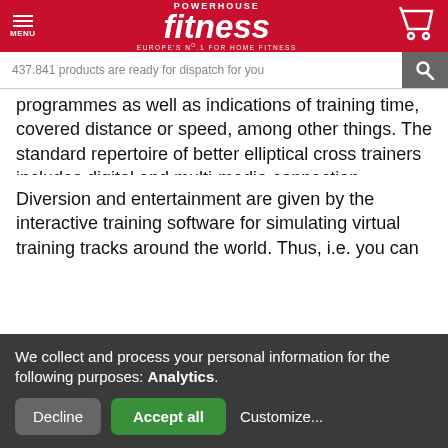POWERHOUSE fitness EUROPE'S No.1 FOR HOME FITNESS
437.841 products are ready for dispatch for you
programmes as well as indications of training time, covered distance or speed, among other things. The standard repertoire of better elliptical cross trainers includes digital and multi-media connection possibilities with smartphones, tablets or fitness trackers, in order to document and analyse your training performance, for instance.
Diversion and entertainment are given by the interactive training software for simulating virtual training tracks around the world. Thus, i.e. you can connect your elliptical
We collect and process your personal information for the following purposes: Analytics.
Decline  Accept all  Customize...